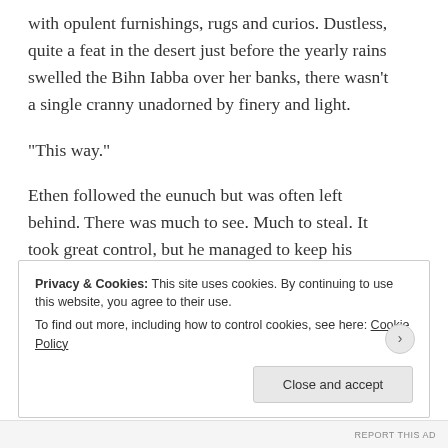with opulent furnishings, rugs and curios. Dustless, quite a feat in the desert just before the yearly rains swelled the Bihn Iabba over her banks, there wasn't a single cranny unadorned by finery and light.
“This way.”
Ethen followed the eunuch but was often left behind. There was much to see. Much to steal. It took great control, but he managed to keep his pockets empty.
On the way out. Something small.
Privacy & Cookies: This site uses cookies. By continuing to use this website, you agree to their use.
To find out more, including how to control cookies, see here: Cookie Policy
Close and accept
REPORT THIS AD